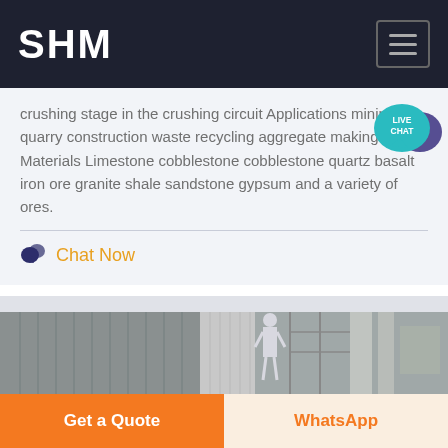SHM
crushing stage in the crushing circuit Applications mining quarry construction waste recycling aggregate making etc Materials Limestone cobblestone cobblestone quartz basalt iron ore granite shale sandstone gypsum and a variety of ores.
Chat Now
[Figure (photo): Industrial facility interior showing machinery and equipment structures]
Get a Quote
WhatsApp